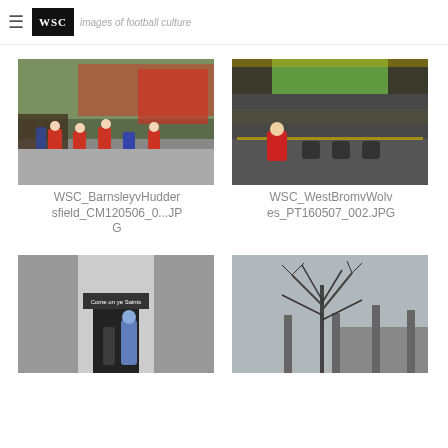WSC — images of football culture
[Figure (photo): Football players walking onto pitch at Barnsley ground, red-kit home team and striped away kit, stadium stands visible in background]
WSC_BarnsleyvHuddersfield_CM120506_0...JPG
[Figure (photo): West Brom stadium interior, large crowd watching big screen, disabled fans section in foreground with person in red jacket]
WSC_WestBromvWolves_PT160507_002.JPG
[Figure (photo): Stadium tunnel entrance with 'Come on ye Saints' banner, fans walking through]
[Figure (photo): Bare winter tree against grey sky with stadium floodlights and stand visible in background]